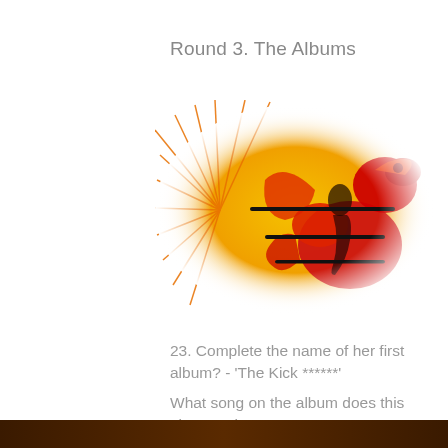Round 3. The Albums
[Figure (illustration): Colorful album artwork featuring a woman in red against a vivid orange, yellow and red background with a large stylized fish or dragon figure]
23. Complete the name of her first album? - 'The Kick ******'
What song on the album does this picture relate to?